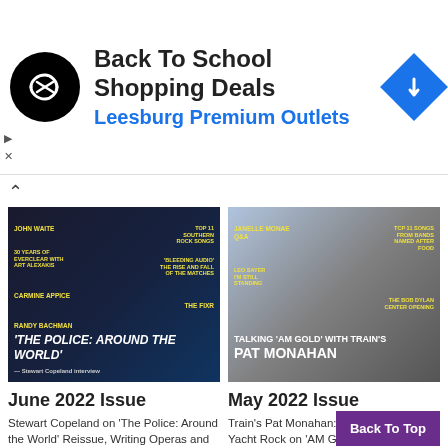[Figure (infographic): Advertisement banner: Back To School Shopping Deals at Leesburg Premium Outlets, with circular black logo, blue text, and blue diamond navigation icon]
[Figure (photo): June 2022 Issue magazine cover: 'The Police: Around the World' with band members in dark clothing]
[Figure (photo): May 2022 Issue magazine cover: 'Talking AM Gold with Train's Pat Monahan' showing Pat Monahan with guitar]
June 2022 Issue
Stewart Copeland on 'The Police: Around the World' Reissue, Writing Operas and the Pull of Nostalgia
Randy Bachman & Tal Bachman's 'Bachman &
May 2022 Issue
Train's Pat Monahan: Sailing the Seas of Yacht Rock on 'AM Gold,' Wine, Baseball and "Hey, Soul Sister" (The Interview)
Train's Pat Monahan: Sailing